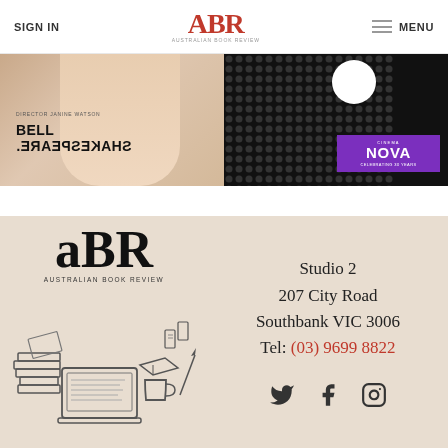SIGN IN | ABR AUSTRALIAN BOOK REVIEW | MENU
[Figure (illustration): Bell Shakespeare advertisement showing mirrored/flipped text 'BELL SHAKESPEARE.' with Director Janine Watson credit, on a light beige background]
[Figure (illustration): Cinema Nova advertisement showing 'CINEMA NOVA CELEBRATING 30 YEARS' logo in purple on black background with halftone dot pattern]
[Figure (logo): ABR Australian Book Review large logo with stylized ABR letterforms in black serif font, with 'AUSTRALIAN BOOK REVIEW' text beneath]
[Figure (illustration): Line illustration of a desk scene with stacked books, open laptop, coffee mug, and scattered papers/bookmarks]
Studio 2
207 City Road
Southbank VIC 3006
Tel: (03) 9699 8822